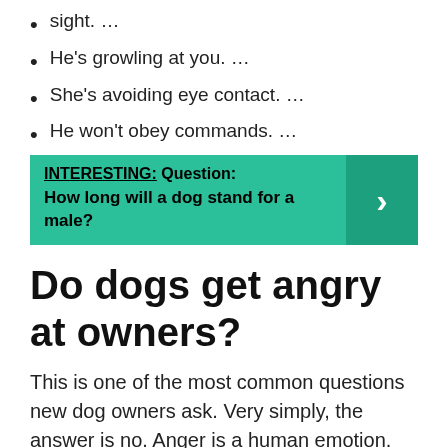sight. …
He's growling at you. …
She's avoiding eye contact. …
He won't obey commands. …
He stiffens up.
[Figure (infographic): Teal/green callout box with bold text: INTERESTING: Question: How long will a dog stand for a male? with a right-arrow button on the right side.]
Do dogs get angry at owners?
This is one of the most common questions new dog owners ask. Very simply, the answer is no. Anger is a human emotion. Dogs live in the moment and don't connect their destructive behavior as payback for